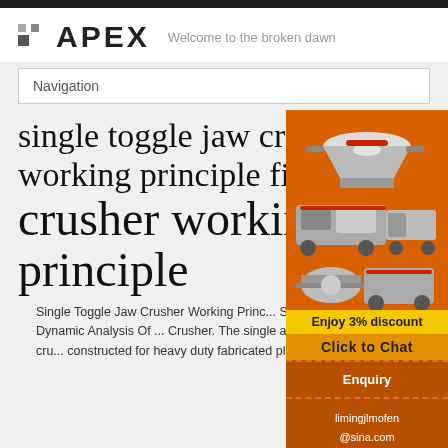APEX — Welcome to the broken dawn
Navigation
single toggle jaw crusher working principle figure — jaw crusher working principle
[Figure (photo): Orange sidebar advertisement showing crusher machinery images, discount offer text 'Enjoy 3% discount', 'Click to Chat', 'Enquiry', and 'limingjlmofen@sina.com']
Single Toggle Jaw Crusher Working Princi... Study Of Kinematic And Dynamic Analysis Of ... Crusher. The single and double toggle jaw cru... constructed for heavy duty fabricated plates with